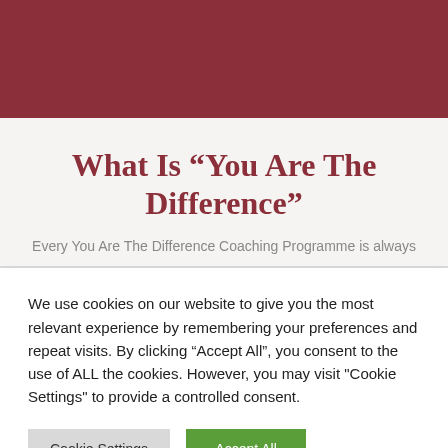[Figure (other): Dark red/maroon header bar at the top of the page]
What Is “You Are The Difference”
Every You Are The Difference Coaching Programme is always
We use cookies on our website to give you the most relevant experience by remembering your preferences and repeat visits. By clicking “Accept All”, you consent to the use of ALL the cookies. However, you may visit "Cookie Settings" to provide a controlled consent.
Cookie Settings | Accept All